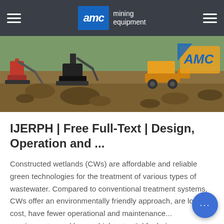AMC mining equipment
[Figure (photo): Mining equipment machinery working on rocky terrain with AMC branding visible in orange and blue]
IJERPH | Free Full-Text | Design, Operation and ...
Constructed wetlands (CWs) are affordable and reliable green technologies for the treatment of various types of wastewater. Compared to conventional treatment systems, CWs offer an environmentally friendly approach, are low cost, have fewer operational and maintenance... requirements, and have a high potential for bein